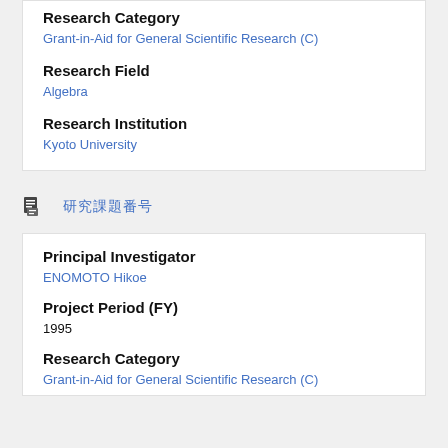Research Category
Grant-in-Aid for General Scientific Research (C)
Research Field
Algebra
Research Institution
Kyoto University
研究課題番号
Principal Investigator
ENOMOTO Hikoe
Project Period (FY)
1995
Research Category
Grant-in-Aid for General Scientific Research (C)